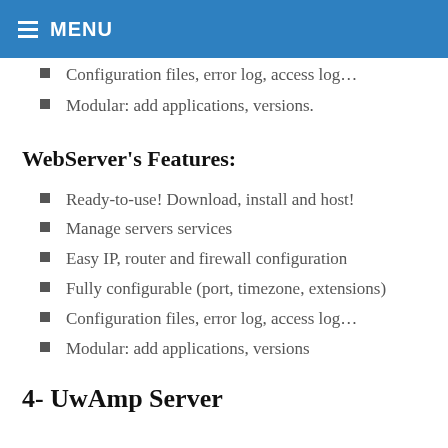MENU
Configuration files, error log, access log...
Modular: add applications, versions.
WebServer's Features:
Ready-to-use! Download, install and host!
Manage servers services
Easy IP, router and firewall configuration
Fully configurable (port, timezone, extensions)
Configuration files, error log, access log...
Modular: add applications, versions
4- UwAmp Server